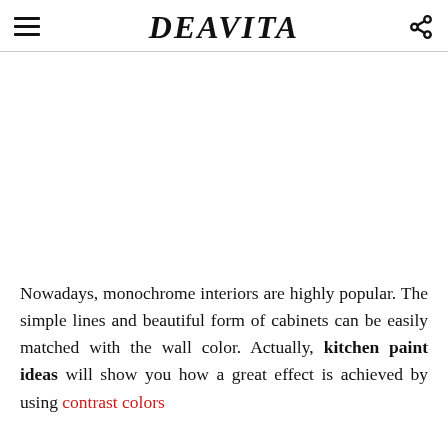DEAVITA
[Figure (photo): Large image placeholder area (white/blank) — photo of a monochrome kitchen interior, mostly cropped out at top of page]
Nowadays, monochrome interiors are highly popular. The simple lines and beautiful form of cabinets can be easily matched with the wall color. Actually, kitchen paint ideas will show you how a great effect is achieved by using contrast colors